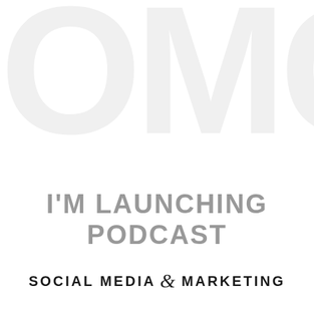[Figure (logo): Large light gray OMG text as background watermark]
I'M LAUNCHING PODCAST
SOCIAL MEDIA & MARKETING